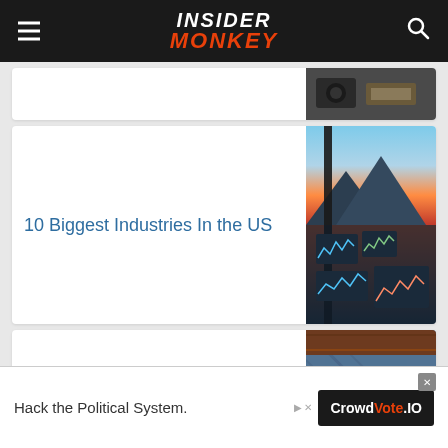INSIDER MONKEY
[Figure (screenshot): Partial article card with image of radio/camera equipment]
10 Biggest Industries In the US
[Figure (photo): Composite image: sunset over water with mountains (top), multiple trading screens with charts (bottom)]
15 Best Business Credit Cards with Cashback
[Figure (photo): Close-up of denim fabric with credit cards and coins]
Hack the Political System.
[Figure (logo): CrowdVote.IO advertisement logo]